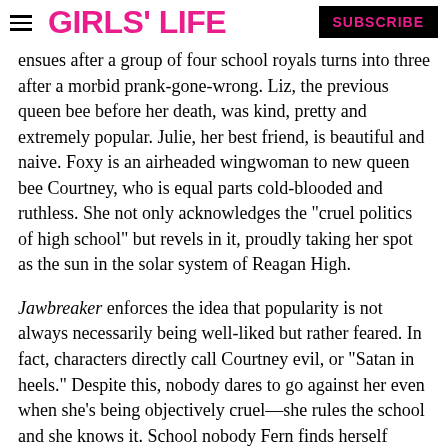GIRLS' LIFE  SUBSCRIBE
ensues after a group of four school royals turns into three after a morbid prank-gone-wrong. Liz, the previous queen bee before her death, was kind, pretty and extremely popular. Julie, her best friend, is beautiful and naive. Foxy is an airheaded wingwoman to new queen bee Courtney, who is equal parts cold-blooded and ruthless. She not only acknowledges the "cruel politics of high school" but revels in it, proudly taking her spot as the sun in the solar system of Reagan High.
Jawbreaker enforces the idea that popularity is not always necessarily being well-liked but rather feared. In fact, characters directly call Courtney evil, or "Satan in heels." Despite this, nobody dares to go against her even when she's being objectively cruel—she rules the school and she knows it. School nobody Fern finds herself thrust in the mean girl clique, given a massive makeover courtesy of Courtney and christened Vylette, becoming a creation and therefore property of the queen bee.